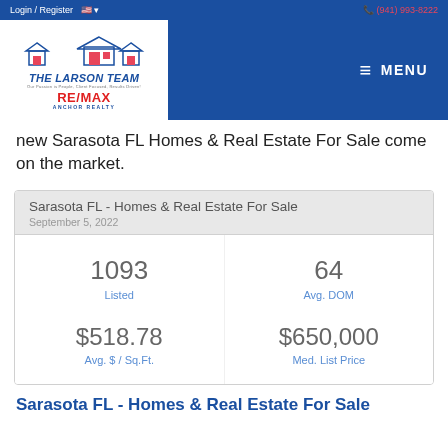Login / Register | (941) 993-8222
[Figure (logo): The Larson Team RE/MAX Anchor Realty logo with house silhouettes]
new Sarasota FL Homes & Real Estate For Sale come on the market.
| Sarasota FL - Homes & Real Estate For Sale | September 5, 2022 |
| --- | --- |
| 1093 Listed | 64 Avg. DOM |
| $518.78 Avg. $ / Sq.Ft. | $650,000 Med. List Price |
Sarasota FL - Homes & Real Estate For Sale